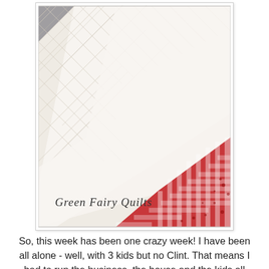[Figure (photo): Close-up photo of a white quilted fabric with diamond/grid quilting patterns. In the lower right corner, red and white gingham and floral fabric patches are visible. A watermark reads 'Green Fairy Quilts' in cursive script at the bottom left of the photo.]
So, this week has been one crazy week! I have been all alone - well, with 3 kids but no Clint. That means I had to run the business, the house and the kids all by myself. I am not complaining - not one bit, but I am sooo ready for Clint to be home. Just another 1 1/2 hours until I get to kiss that gorgeous face of his! I got a ton of things done. I even